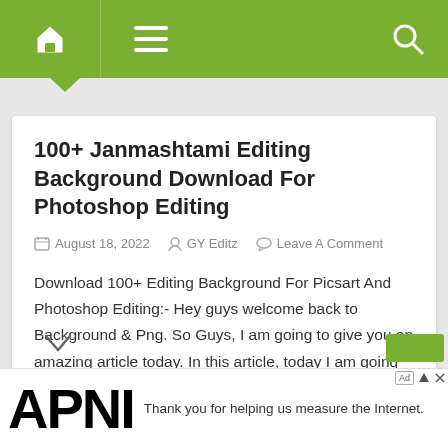Navigation bar with home icon, menu icon, and search icon
100+ Janmashtami Editing Background Download For Photoshop Editing
August 18, 2022  GY Editz  Leave A Comment
Download 100+ Editing Background For Picsart And Photoshop Editing:- Hey guys welcome back to Background & Png. So Guys, I am going to give you an amazing article today. In this article, today I am going to give you the 100+ Janmashtami Editing Background to download. I will give you 100+ Janmashtami Editing Background of [...]
[Figure (logo): APNIC logo and advertisement text: Thank you for helping us measure the Internet.]